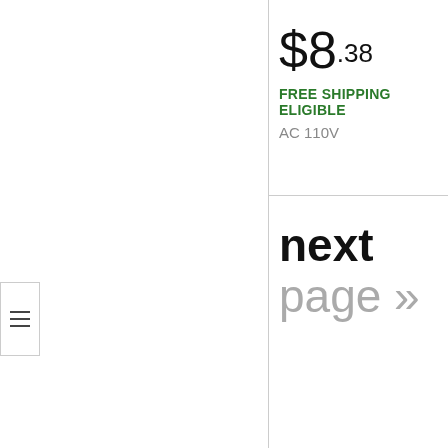$8.38
FREE SHIPPING ELIGIBLE
AC 110V
next page »